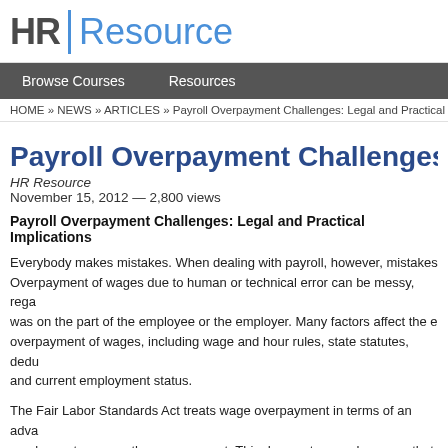HR Resource
Browse Courses   Resources
HOME » NEWS » ARTICLES » Payroll Overpayment Challenges: Legal and Practical Implic...
Payroll Overpayment Challenges:
HR Resource
November 15, 2012 — 2,800 views
Payroll Overpayment Challenges: Legal and Practical Implications
Everybody makes mistakes. When dealing with payroll, however, mistakes Overpayment of wages due to human or technical error can be messy, rega was on the part of the employee or the employer. Many factors affect the e overpayment of wages, including wage and hour rules, state statutes, dedu and current employment status.
The Fair Labor Standards Act treats wage overpayment in terms of an adva employers to recoup the overpayment. This does not mean, however, that the overpayment from future earnings. Many states have their own statuto repayment that specifies how an employer may recoup the overpayment. F have to obtain written agreement from the employee to the repayment. Sta language as to the amount of time employers have to recover overpaymen